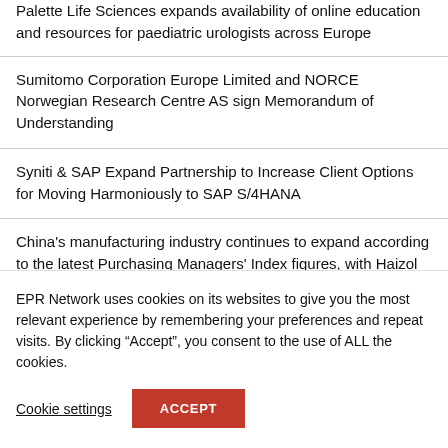Palette Life Sciences expands availability of online education and resources for paediatric urologists across Europe
Sumitomo Corporation Europe Limited and NORCE Norwegian Research Centre AS sign Memorandum of Understanding
Syniti & SAP Expand Partnership to Increase Client Options for Moving Harmoniously to SAP S/4HANA
China's manufacturing industry continues to expand according to the latest Purchasing Managers' Index figures, with Haizol at the forefront of the growth
EPR Network uses cookies on its websites to give you the most relevant experience by remembering your preferences and repeat visits. By clicking "Accept", you consent to the use of ALL the cookies.